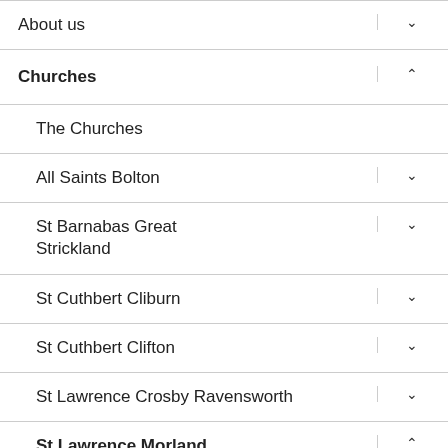About us
Churches
The Churches
All Saints Bolton
St Barnabas Great Strickland
St Cuthbert Cliburn
St Cuthbert Clifton
St Lawrence Crosby Ravensworth
St Lawrence Morland